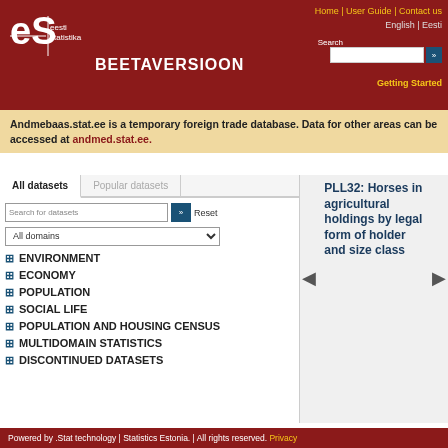Home | User Guide | Contact us | English | Eesti
BEETAVERSIOON
Andmebaas.stat.ee is a temporary foreign trade database. Data for other areas can be accessed at andmed.stat.ee.
All datasets | Popular datasets
Search for datasets | All domains
ENVIRONMENT
ECONOMY
POPULATION
SOCIAL LIFE
POPULATION AND HOUSING CENSUS
MULTIDOMAIN STATISTICS
DISCONTINUED DATASETS
PLL32: Horses in agricultural holdings by legal form of holder and size class
Powered by .Stat technology | Statistics Estonia. | All rights reserved. Privacy